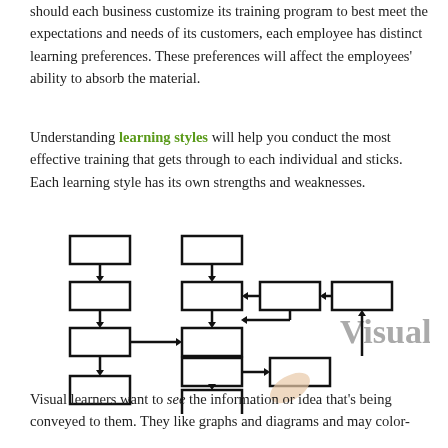should each business customize its training program to best meet the expectations and needs of its customers, each employee has distinct learning preferences. These preferences will affect the employees' ability to absorb the material.
Understanding learning styles will help you conduct the most effective training that gets through to each individual and sticks. Each learning style has its own strengths and weaknesses.
[Figure (photo): A hand drawing a flowchart diagram on a transparent surface. The diagram shows multiple rectangular boxes connected by arrows forming a complex process flow. The word 'Visual' appears in large gray text to the right of the diagram.]
Visual learners want to see the information or idea that's being conveyed to them. They like graphs and diagrams and may color-code the text to categorize it. They value maps as well.